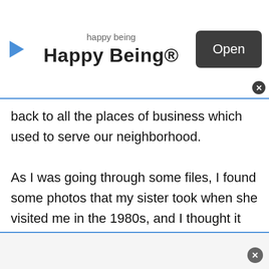[Figure (screenshot): App advertisement banner for 'Happy Being®' app with play icon on the left, app name text in center, and an 'Open' button on the right with a close X button]
back to all the places of business which used to serve our neighborhood.

As I was going through some files, I found some photos that my sister took when she visited me in the 1980s, and I thought it might be fun to offer readers of iLovetheUpperWestside a little brain teaser.

I'll post photos from that time period with a clue, and then you can guess what's now in that location.